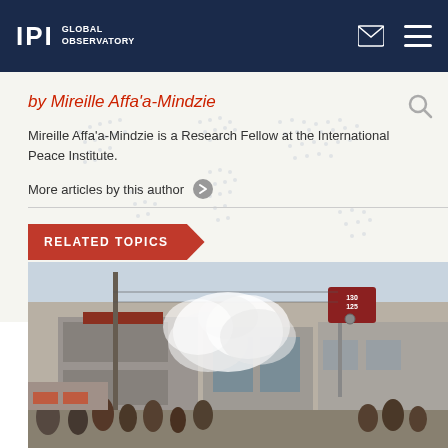IPI GLOBAL OBSERVATORY
by Mireille Affa'a-Mindzie
Mireille Affa'a-Mindzie is a Research Fellow at the International Peace Institute.
More articles by this author
RELATED TOPICS
[Figure (photo): Street scene showing smoke or tear gas rising near buildings and a utility pole, with a crowd of people visible in the foreground.]